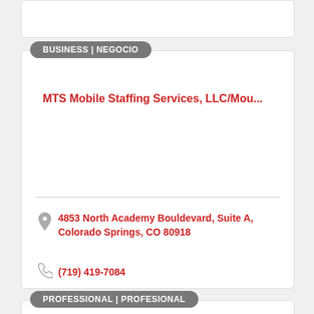BUSINESS | NEGOCIO
MTS Mobile Staffing Services, LLC/Mou...
4853 North Academy Bouldevard, Suite A, Colorado Springs, CO 80918
(719) 419-7084
PROFESSIONAL | PROFESIONAL